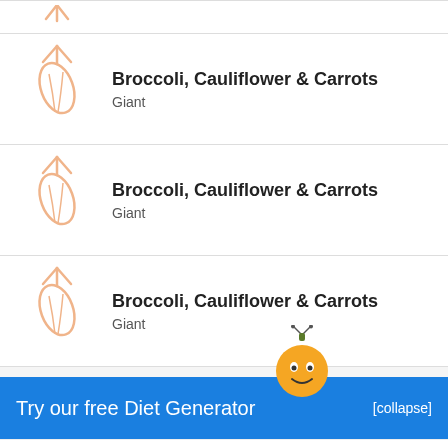Broccoli, Cauliflower & Carrots — Giant (row 1, truncated top)
Broccoli, Cauliflower & Carrots — Giant
Broccoli, Cauliflower & Carrots — Giant
Broccoli, Cauliflower & Carrots — Giant
Try our free Diet Generator [collapse]
I want to eat 1500 calories in 4 meals.
Generate